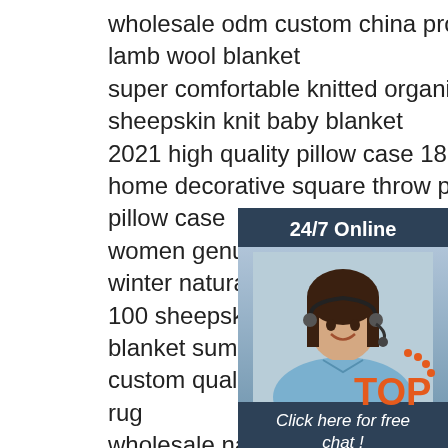wholesale odm custom china professional high quality fleece lamb wool blanket
super comfortable knitted organic baby blanket 100 bamboo sheepskin knit baby blanket
2021 high quality pillow case 18 18 throw sheepskin home decorative square throw pillow cushion cover pillow case
women genuine suede leather warm fluffy breathable winter natural sheepskin slippers womens
100 sheepskin super soft comfortable health baby blanket summer
custom quality heart carpet sheepskin fluffy genuine rug
wholesale natural genuine sheepskin carpet living decoration natural genuine fur carpet shaggy anti slip fur carpet
low moq sheepskin woven blanket japan style cartoon cat home textile woven blanket art sofa couch blanket fringe tassel
custom design floor carpet sheepskin sheep fur luxury anti-slip living room large rugs bedroom carpet
factory direct sales carpet manufacturer 100 sheepskin carpets
[Figure (infographic): 24/7 Online chat widget with customer service representative photo, 'Click here for free chat!' text, and orange QUOTATION button]